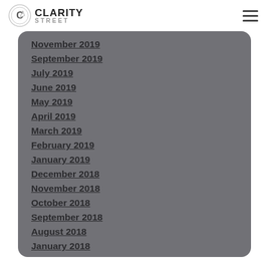Clarity Street
November 2019
September 2019
July 2019
June 2019
May 2019
April 2019
March 2019
February 2019
January 2019
December 2018
November 2018
October 2018
September 2018
August 2018
January 2018